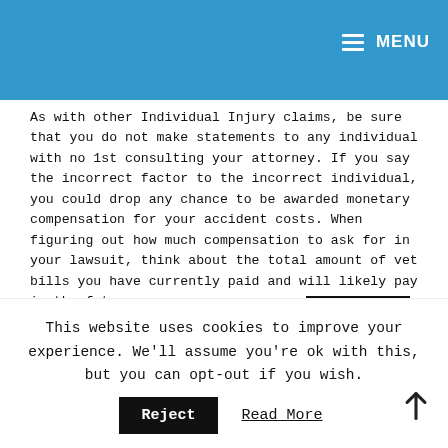MENU
As with other Individual Injury claims, be sure that you do not make statements to any individual with no 1st consulting your attorney. If you say the incorrect factor to the incorrect individual, you could drop any chance to be awarded monetary compensation for your accident costs. When figuring out how much compensation to ask for in your lawsuit, think about the total amount of vet bills you have currently paid and will likely pay in the future.
If you had been injured by a dog or are accused of having a dog that has bitten another individual, do
This website uses cookies to improve your experience. We'll assume you're ok with this, but you can opt-out if you wish.
Accept
Reject
Read More